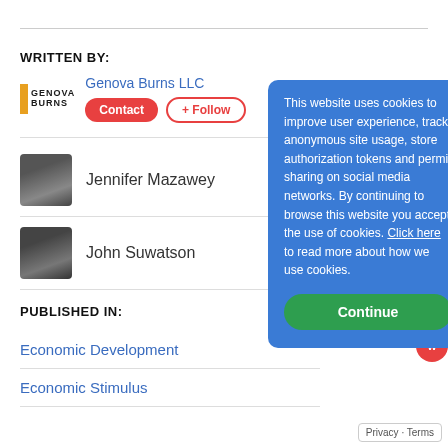WRITTEN BY:
Genova Burns LLC
Contact   + Follow
Jennifer Mazawey
John Suwatson
PUBLISHED IN:
Economic Development
Economic Stimulus
This website uses cookies to improve user experience, track anonymous site usage, store authorization tokens and permit sharing on social media networks. By continuing to browse this website you accept the use of cookies. Click here to read more about how we use cookies.
Continue
Privacy · Terms